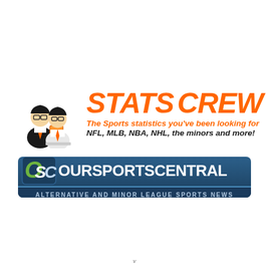[Figure (logo): Stats Crew logo with two illustrated sports analysts/statisticians figures on the left, orange bold italic text 'STATS CREW' on the right, tagline 'The Sports statistics you've been looking for' in orange italic, and 'NFL, MLB, NBA, NHL, the minors and more!' in black bold italic]
[Figure (logo): OurSportsCentral logo banner with OSC monogram in green/dark blue on left, 'OURSPORTSCENTRAL' in white bold text on navy blue background, subtitle bar reading 'ALTERNATIVE AND MINOR LEAGUE SPORTS NEWS' in light blue caps]